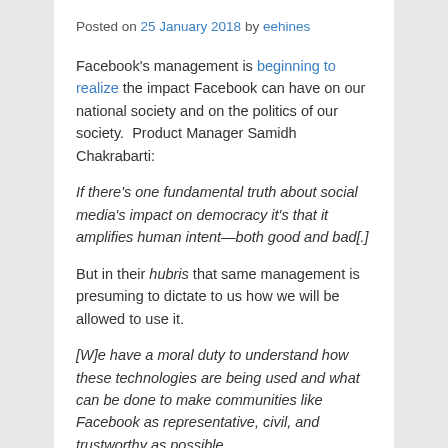Posted on 25 January 2018 by eehines
Facebook's management is beginning to realize the impact Facebook can have on our national society and on the politics of our society.  Product Manager Samidh Chakrabarti:
If there's one fundamental truth about social media's impact on democracy it's that it amplifies human intent—both good and bad[.]
But in their hubris that same management is presuming to dictate to us how we will be allowed to use it.
[W]e have a moral duty to understand how these technologies are being used and what can be done to make communities like Facebook as representative, civil, and trustworthy as possible.
No.  Facebook technology is like any other tool, neither good nor bad in itself, but useful or destructive in from the